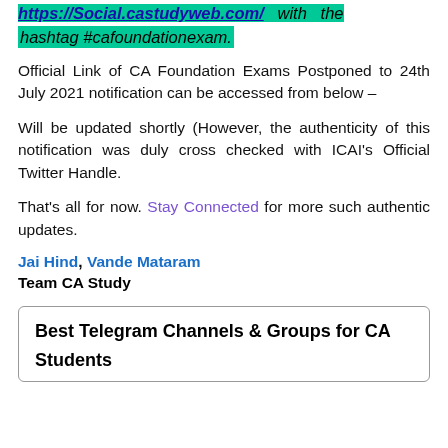https://Social.castudyweb.com/ with the hashtag #cafoundationexam.
Official Link of CA Foundation Exams Postponed to 24th July 2021 notification can be accessed from below –
Will be updated shortly (However, the authenticity of this notification was duly cross checked with ICAI's Official Twitter Handle.
That's all for now. Stay Connected for more such authentic updates.
Jai Hind, Vande Mataram
Team CA Study
Best Telegram Channels & Groups for CA Students